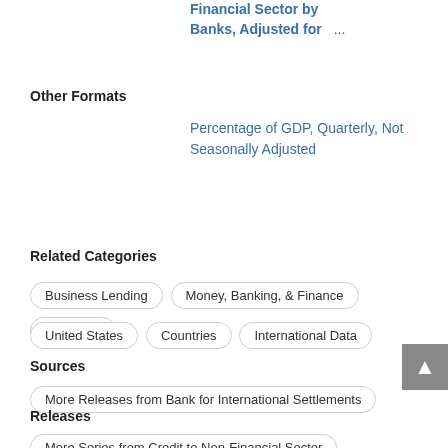Financial Sector by Banks, Adjusted for ...
Other Formats
Percentage of GDP, Quarterly, Not Seasonally Adjusted
Related Categories
Business Lending
Money, Banking, & Finance
Indicators
United States
Countries
International Data
Sources
More Releases from Bank for International Settlements
Releases
More Series from Credit to Non-Financial Sector
Tags